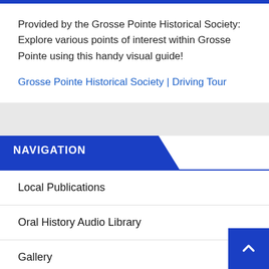Provided by the Grosse Pointe Historical Society: Explore various points of interest within Grosse Pointe using this handy visual guide!
Grosse Pointe Historical Society | Driving Tour
NAVIGATION
Local Publications
Oral History Audio Library
Gallery
Library Photos